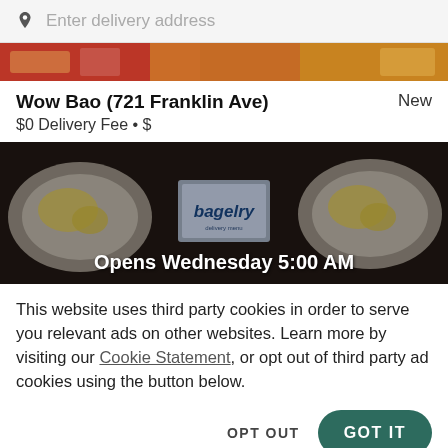Enter delivery address
[Figure (photo): Food image strip at top showing fries and food items]
Wow Bao (721 Franklin Ave)
New
$0 Delivery Fee • $
[Figure (photo): Bagelry restaurant image showing plates with food on dark background. Text overlay: Opens Wednesday 5:00 AM]
This website uses third party cookies in order to serve you relevant ads on other websites. Learn more by visiting our Cookie Statement, or opt out of third party ad cookies using the button below.
OPT OUT
GOT IT